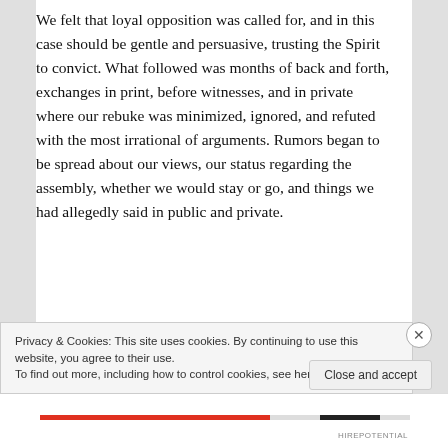We felt that loyal opposition was called for, and in this case should be gentle and persuasive, trusting the Spirit to convict. What followed was months of back and forth, exchanges in print, before witnesses, and in private where our rebuke was minimized, ignored, and refuted with the most irrational of arguments. Rumors began to be spread about our views, our status regarding the assembly, whether we would stay or go, and things we had allegedly said in public and private.
Responses of The Elders and The Church
We requested a meeting with the elders to discuss...
Privacy & Cookies: This site uses cookies. By continuing to use this website, you agree to their use.
To find out more, including how to control cookies, see here: Cookie Policy
Close and accept